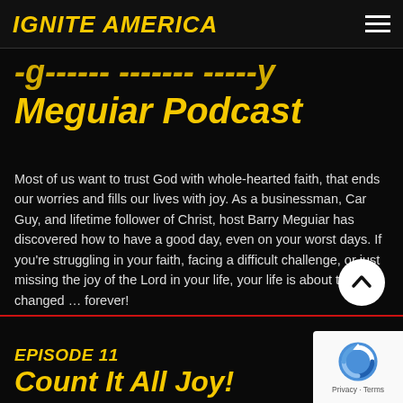IGNITE AMERICA
Meguiar Podcast
Most of us want to trust God with whole-hearted faith, that ends our worries and fills our lives with joy. As a businessman, Car Guy, and lifetime follower of Christ, host Barry Meguiar has discovered how to have a good day, even on your worst days. If you're struggling in your faith, facing a difficult challenge, or just missing the joy of the Lord in your life, your life is about to be changed … forever!
EPISODE 11
Count It All Joy!
[Figure (logo): reCAPTCHA logo with Privacy and Terms text]